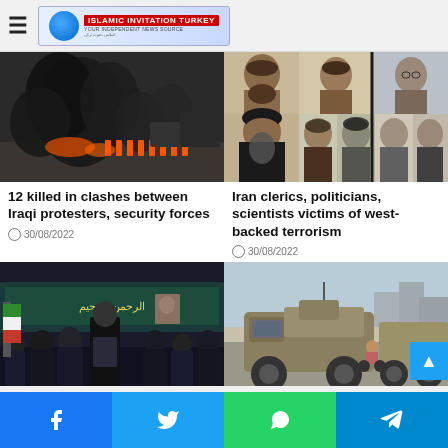Islamic Invitation Turkey
[Figure (photo): Black smoke rising from burning tires, protesters and security forces in street]
[Figure (photo): Collage of Iranian clerics, politicians, and scientists who were victims of terrorism]
12 killed in clashes between Iraqi protesters, security forces
30/08/2022
Iran clerics, politicians, scientists victims of west-backed terrorism
30/08/2022
[Figure (photo): Leader speaking at podium in formal ceremony with Iranian flag]
[Figure (photo): US military armored vehicles on road in Syria]
Leader lauds efforts of
Syria Says US Occupatio
Facebook Twitter WhatsApp Telegram